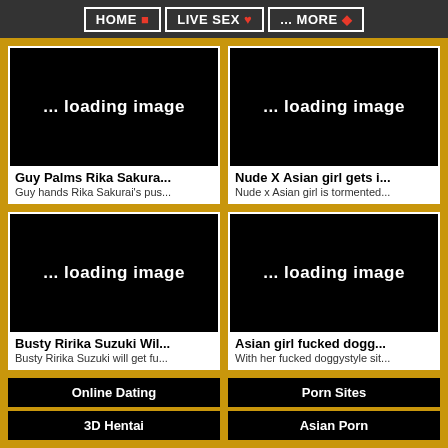HOME 🏠  LIVE SEX ♥  ... MORE ♦
[Figure (screenshot): Black placeholder thumbnail showing '... loading image' text]
Guy Palms Rika Sakura...
Guy hands Rika Sakurai's pus...
[Figure (screenshot): Black placeholder thumbnail showing '... loading image' text]
Nude X Asian girl gets i...
Nude x Asian girl is tormented...
[Figure (screenshot): Black placeholder thumbnail showing '... loading image' text]
Busty Ririka Suzuki Wil...
Busty Ririka Suzuki will get fu...
[Figure (screenshot): Black placeholder thumbnail showing '... loading image' text]
Asian girl fucked dogg...
With her fucked doggystyle sit...
Online Dating
Porn Sites
3D Hentai
Asian Porn